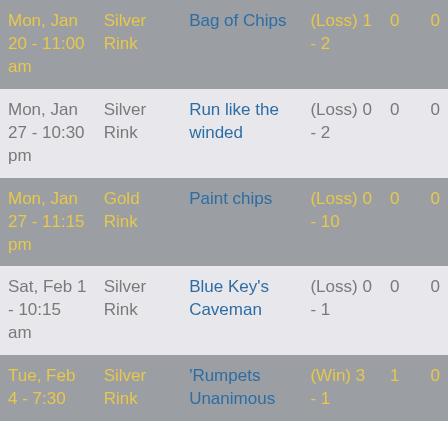| Date | Rink | Opponent | Result | Pts |  |
| --- | --- | --- | --- | --- | --- |
| Mon, Jan 20 - 11:00 am | Silver Rink | Bag of Chips | (Loss) 1 - 2 | 0 | 0 |
| Mon, Jan 27 - 10:30 pm | Silver Rink | Run like the winded | (Loss) 0 - 2 | 0 | 0 |
| Mon, Jan 27 - 11:15 pm | Gold Rink | Paint chips | (Loss) 0 - 10 | 0 | 0 |
| Sat, Feb 1 - 10:15 am | Silver Rink | Blue Key's Caveman | (Loss) 0 - 1 | 0 | 0 |
| Tue, Feb 4 - 7:30 | Silver Rink | 'Rumpets Unanimous | (Win) 3 - 1 | 1 | 0 |